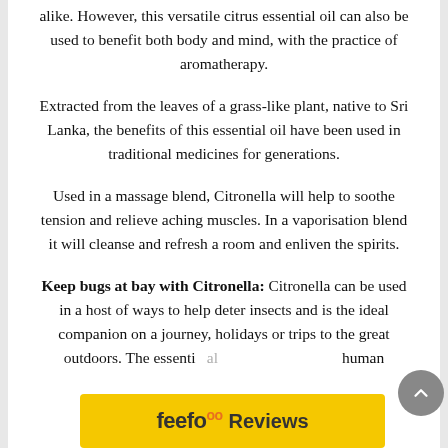alike. However, this versatile citrus essential oil can also be used to benefit both body and mind, with the practice of aromatherapy.
Extracted from the leaves of a grass-like plant, native to Sri Lanka, the benefits of this essential oil have been used in traditional medicines for generations.
Used in a massage blend, Citronella will help to soothe tension and relieve aching muscles. In a vaporisation blend it will cleanse and refresh a room and enliven the spirits.
Keep bugs at bay with Citronella: Citronella can be used in a host of ways to help deter insects and is the ideal companion on a journey, holidays or trips to the great outdoors. The essential ... human
[Figure (logo): Feefo Reviews yellow banner with logo and 'Reviews' text]